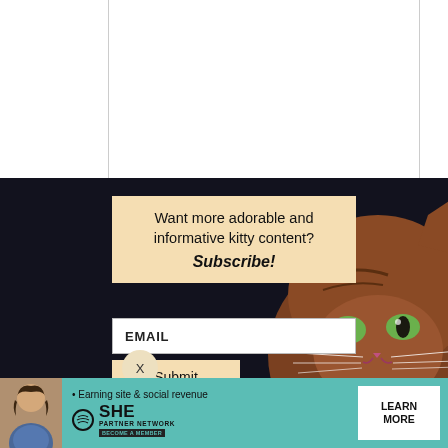[Figure (screenshot): Top white area with column lines representing a webpage background]
[Figure (photo): Dark background popup modal with a brown/orange cat peeking from the lower right corner with green eyes, on a near-black background]
Want more adorable and informative kitty content? Subscribe!
EMAIL
Submit
X
WEBSITE
X
[Figure (infographic): SHE Partner Network advertisement banner with teal background, woman photo, bullet point 'Earning site & social revenue', SHE logo, and 'LEARN MORE' button]
• Earning site & social revenue
SHE PARTNER NETWORK BECOME A MEMBER
LEARN MORE